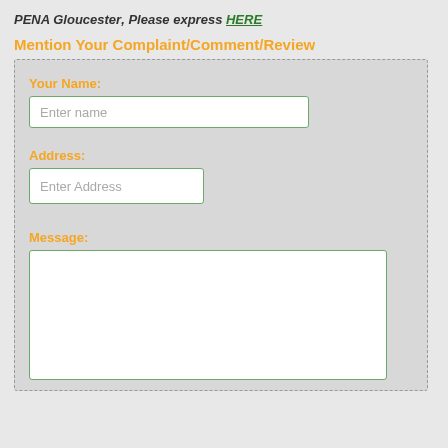PENA Gloucester, Please express HERE
Mention Your Complaint/Comment/Review
Your Name:
Enter name
Address:
Enter Address
Message: